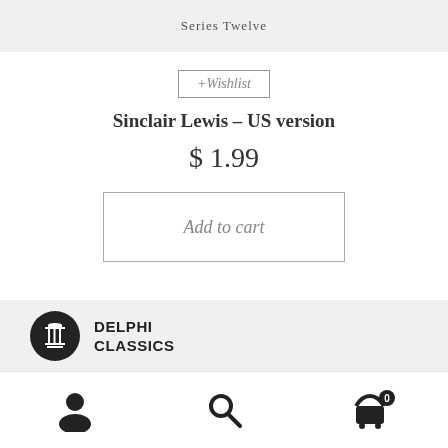Series Twelve
+Wishlist
Sinclair Lewis – US version
$ 1.99
Add to cart
[Figure (logo): Delphi Classics logo with column icon]
DELPHI CLASSICS
[Figure (illustration): Bottom navigation bar with user, search, and cart icons]